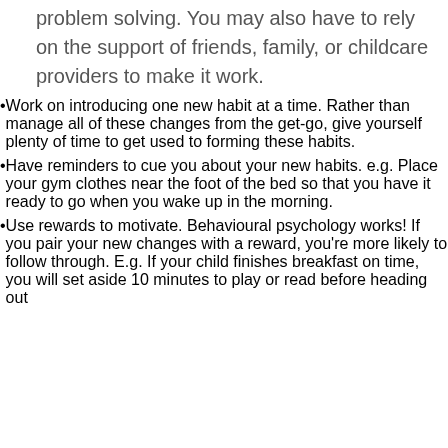problem solving. You may also have to rely on the support of friends, family, or childcare providers to make it work.
Work on introducing one new habit at a time. Rather than manage all of these changes from the get-go, give yourself plenty of time to get used to forming these habits.
Have reminders to cue you about your new habits. e.g. Place your gym clothes near the foot of the bed so that you have it ready to go when you wake up in the morning.
Use rewards to motivate. Behavioural psychology works! If you pair your new changes with a reward, you’re more likely to follow through. E.g. If your child finishes breakfast on time, you will set aside 10 minutes to play or read before heading out